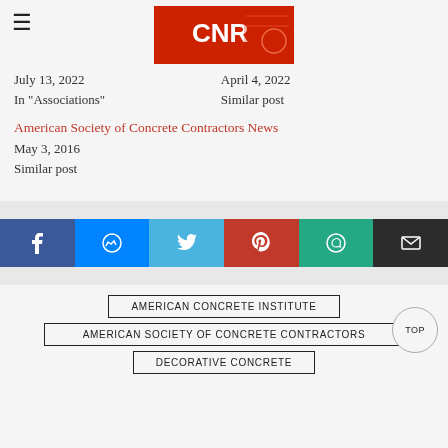[Figure (logo): CNR red logo/banner image at top center]
July 13, 2022
In "Associations"
April 4, 2022
Similar post
American Society of Concrete Contractors News
May 3, 2016
Similar post
[Figure (infographic): Social share buttons: Facebook, Messenger, Twitter, Pinterest, WhatsApp, Email]
AMERICAN CONCRETE INSTITUTE
AMERICAN SOCIETY OF CONCRETE CONTRACTORS
DECORATIVE CONCRETE
TOP